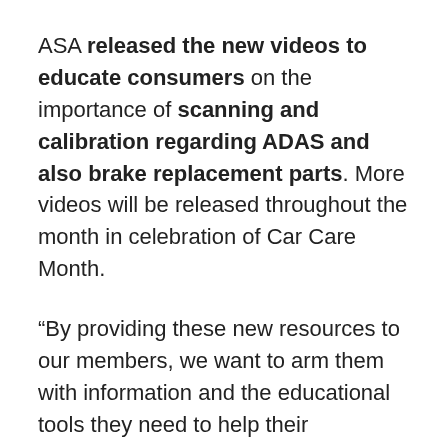ASA released the new videos to educate consumers on the importance of scanning and calibration regarding ADAS and also brake replacement parts. More videos will be released throughout the month in celebration of Car Care Month.
“By providing these new resources to our members, we want to arm them with information and the educational tools they need to help their customers make more informed decisions on repairs and service. Beyond just telling their customers, these resources are showing them. We hope our shops will use the videos to promote greater safety and driving confidence,” said Ray Fisher, AMAM, ASA president.